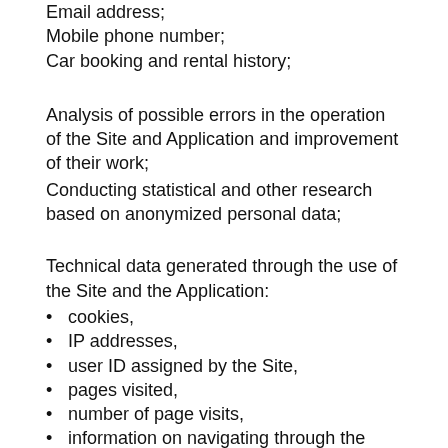Email address;
Mobile phone number;
Car booking and rental history;
Analysis of possible errors in the operation of the Site and Application and improvement of their work;
Conducting statistical and other research based on anonymized personal data;
Technical data generated through the use of the Site and the Application:
cookies,
IP addresses,
user ID assigned by the Site,
pages visited,
number of page visits,
information on navigating through the pages of the Site,